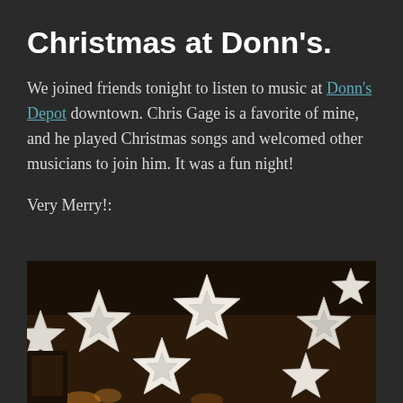Christmas at Donn's.
We joined friends tonight to listen to music at Donn's Depot downtown. Chris Gage is a favorite of mine, and he played Christmas songs and welcomed other musicians to join him. It was a fun night!
Very Merry!:
[Figure (photo): Photo of paper star/snowflake decorations hanging from the ceiling inside Donn's Depot, a dimly lit venue with warm wood tones.]